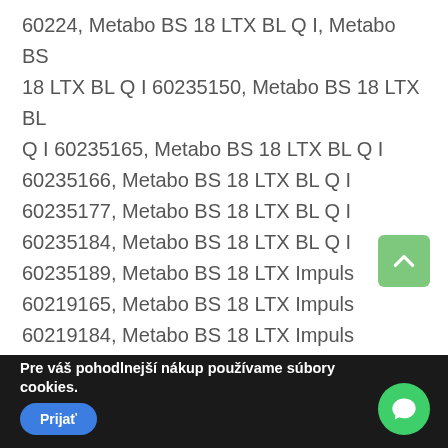60224, Metabo BS 18 LTX BL Q I, Metabo BS 18 LTX BL Q I 60235150, Metabo BS 18 LTX BL Q I 60235165, Metabo BS 18 LTX BL Q I 60235166, Metabo BS 18 LTX BL Q I 60235177, Metabo BS 18 LTX BL Q I 60235184, Metabo BS 18 LTX BL Q I 60235189, Metabo BS 18 LTX Impuls 60219165, Metabo BS 18 LTX Impuls 60219184, Metabo BS 18 LTX Impuls 60219189, Metabo BS 18 LTX Quick 602193500, Metabo BS 18 LTX Quick 602193660, Metabo BS 18 LTX Quick 602193840, Metabo BS 18 LTX, Metabo BS 18
Pre váš pohodlnejší nákup používame súbory cookies.